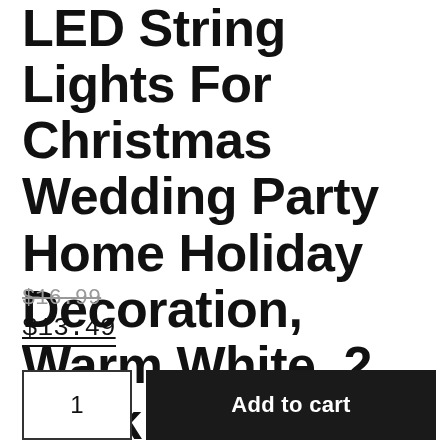LED String Lights For Christmas Wedding Party Home Holiday Decoration, Warm White, 2 Pack
$16.99 (strikethrough) $13.49
1  Add to cart